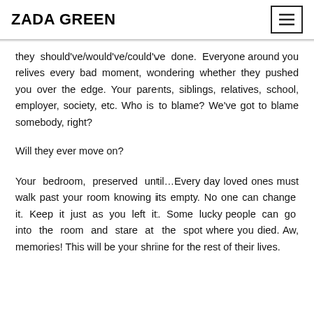ZADA GREEN
they should've/would've/could've done. Everyone around you relives every bad moment, wondering whether they pushed you over the edge. Your parents, siblings, relatives, school, employer, society, etc. Who is to blame? We've got to blame somebody, right?
Will they ever move on?
Your bedroom, preserved until…Every day loved ones must walk past your room knowing its empty. No one can change it. Keep it just as you left it. Some lucky people can go into the room and stare at the spot where you died. Aw, memories! This will be your shrine for the rest of their lives.